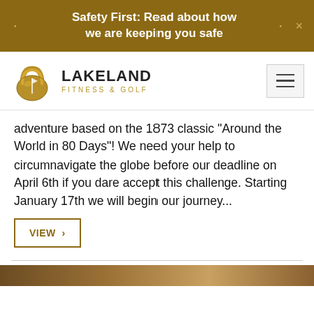Safety First: Read about how we are keeping you safe
[Figure (logo): Lakeland Fitness & Golf logo with kettlebell and golf flag icon]
adventure based on the 1873 classic “Around the World in 80 Days”! We need your help to circumnavigate the globe before our deadline on April 6th if you dare accept this challenge. Starting January 17th we will begin our journey...
VIEW ›
[Figure (photo): Partial brown/golden image at bottom of page]